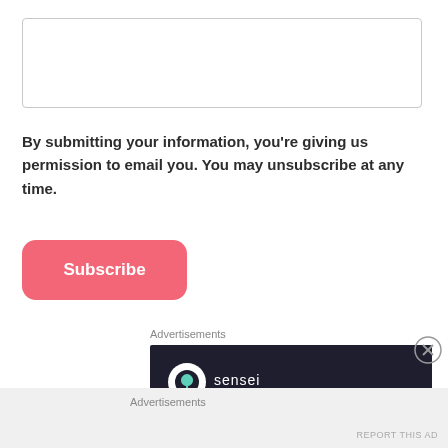[Figure (other): Text input/form field box with light border]
By submitting your information, you're giving us permission to email you. You may unsubscribe at any time.
[Figure (other): Subscribe button - pink/salmon rounded rectangle]
Advertisements
[Figure (other): Sensei advertisement banner: dark navy background, Sensei logo (white circle with tree icon) and brand name, headline 'Launch your online course with WordPress' in teal/mint color]
Advertisements
REPORT THIS AD